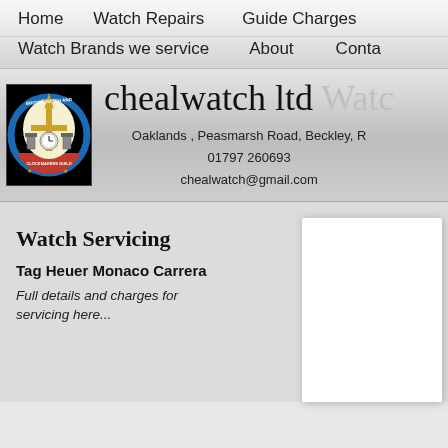Home   Watch Repairs   Guide Charges   Watch Brands we service   About   Conta
[Figure (logo): British Watch and Clockmakers Guild circular crest/logo on black background with blue and gold design]
chealwatch ltd Watc
Oaklands , Peasmarsh Road, Beckley, R
01797 260693
chealwatch@gmail.com
Watch Servicing
Tag Heuer Monaco Carrera
Full details and charges for servicing here...